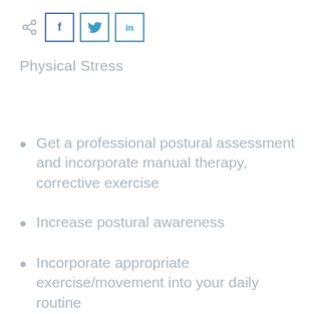[Figure (other): Social share icons: share button, Facebook (f), Twitter (bird), LinkedIn (in)]
Physical Stress
Get a professional postural assessment and incorporate manual therapy, corrective exercise
Increase postural awareness
Incorporate appropriate exercise/movement into your daily routine
Go for a walk every day, preferably outside first thing in the morning or during sunset